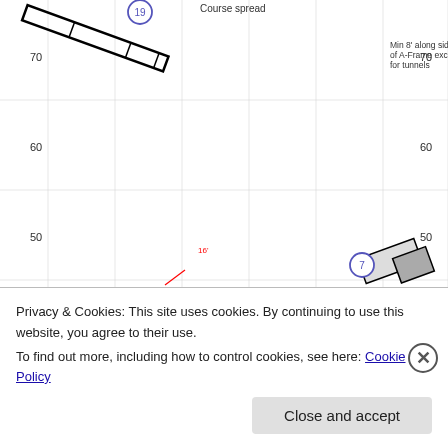[Figure (schematic): Dog agility course layout diagram showing numbered obstacles (1-20), distances between obstacles in feet, and minimum spacing rules. Grid with coordinates 10-70 on both axes. Red arrows show distances (6', 8', 15', 16', 18', 20'). Blue circled numbers label obstacles. Text annotations describe minimum clearances: 'Min 8' along side of A-Frame except for tunnels', 'Min 6' between any obstacle/barrier and the DW', 'Min 6' from edge of broad jump to barrier', '15' min to any other obstacle except a jump', 'Min. 6' around table', '18' min to jump', 'Min 15' to 1st obstacle, 21' min if a spread', 'Min 8' around upside of teeter 10' better. Good practice as bottom can be tripping hazard.', 'Min 20' to barrier/exit from last obstacle'. Course spread label at top. Dotted lines show approach paths.]
Privacy & Cookies: This site uses cookies. By continuing to use this website, you agree to their use.
To find out more, including how to control cookies, see here: Cookie Policy
Close and accept